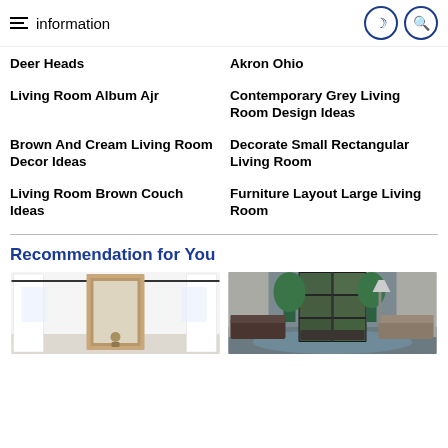information
Deer Heads
Akron Ohio
Living Room Album Ajr
Contemporary Grey Living Room Design Ideas
Brown And Cream Living Room Decor Ideas
Decorate Small Rectangular Living Room
Living Room Brown Couch Ideas
Furniture Layout Large Living Room
Recommendation for You
[Figure (photo): Bright white living room with curtains on two rods and a wooden framed mirror/door in the center]
[Figure (photo): Living room with black French doors, large windows, dark leather sofa, chairs and a blue rug]